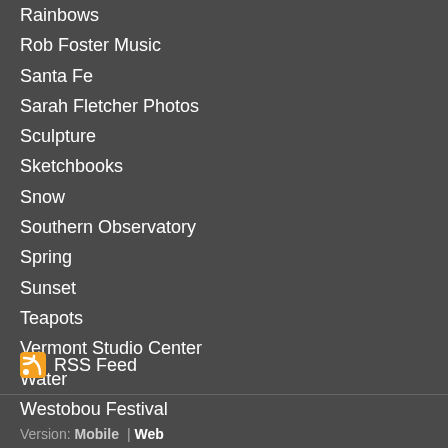Rainbows
Rob Foster Music
Santa Fe
Sarah Fletcher Photos
Sculpture
Sketchbooks
Snow
Southern Observatory
Spring
Sunset
Teapots
Vermont Studio Center
Water
Westobou Festival
RSS Feed
Version:  Mobile  |  Web